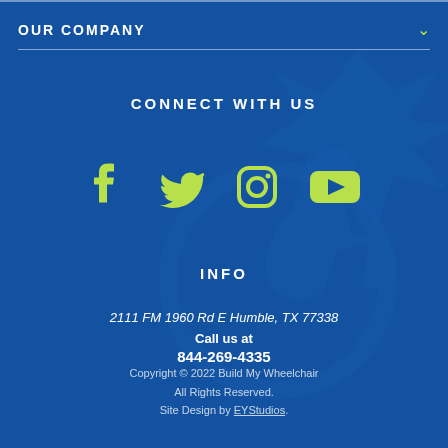OUR COMPANY
[Figure (illustration): Decorative watermark logo of a wheelchair figure with star burst, in a darker blue tone on the blue background]
CONNECT WITH US
[Figure (other): Social media icons: Facebook, Twitter, Instagram, YouTube — in lime green]
INFO
2111 FM 1960 Rd E Humble, TX 77338
Call us at
844-269-4335
Copyright © 2022 Build My Wheelchair All Rights Reserved. Site Design by EYStudios.